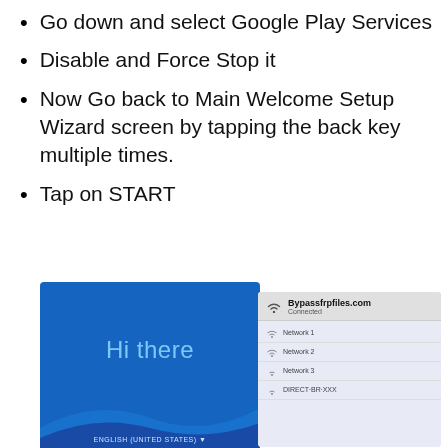Go down and select Google Play Services
Disable and Force Stop it
Now Go back to Main Welcome Setup Wizard screen by tapping the back key multiple times.
Tap on START
[Figure (screenshot): Two overlapping smartphone screenshots: left shows Android setup 'Hi there' welcome screen in blue with ENGLISH (UNITED STATES) option; right shows a WiFi network selection panel with Bypassfrpfiles.com listed as Connected plus other network names below.]